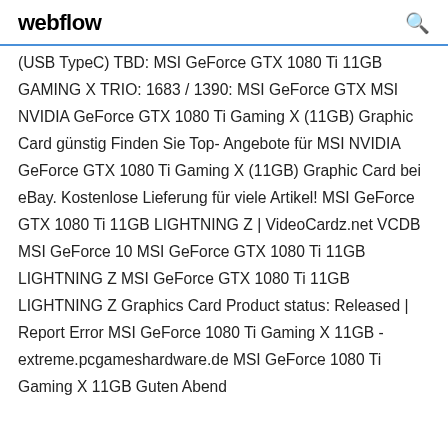webflow
(USB TypeC) TBD: MSI GeForce GTX 1080 Ti 11GB GAMING X TRIO: 1683 / 1390: MSI GeForce GTX MSI NVIDIA GeForce GTX 1080 Ti Gaming X (11GB) Graphic Card günstig Finden Sie Top-Angebote für MSI NVIDIA GeForce GTX 1080 Ti Gaming X (11GB) Graphic Card bei eBay. Kostenlose Lieferung für viele Artikel! MSI GeForce GTX 1080 Ti 11GB LIGHTNING Z | VideoCardz.net VCDB MSI GeForce 10 MSI GeForce GTX 1080 Ti 11GB LIGHTNING Z MSI GeForce GTX 1080 Ti 11GB LIGHTNING Z Graphics Card Product status: Released | Report Error MSI GeForce 1080 Ti Gaming X 11GB - extreme.pcgameshardware.de MSI GeForce 1080 Ti Gaming X 11GB Guten Abend